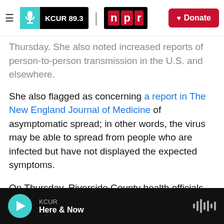KCUR 89.3 | npr | Donate
Thursday. She also noted increased reports of person-to-person transmission in the U.S. and elsewhere.
She also flagged as concerning a report in The New England Journal of Medicine of asymptomatic spread; in other words, the virus may be able to spread from people who are infected but have not displayed the expected symptoms.
On Thursday, Riverside County health officials issued their own quarantine order for one of the passengers from the charter flight. That passenger had attempted to leave the base.
KCUR | Here & Now